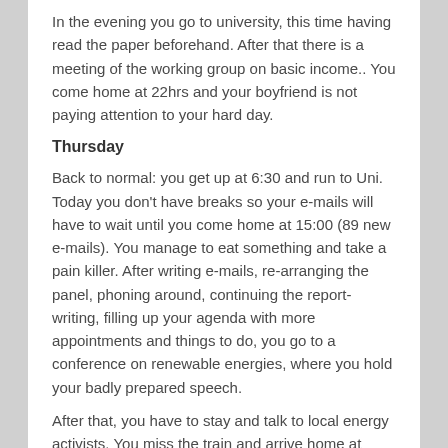In the evening you go to university, this time having read the paper beforehand. After that there is a meeting of the working group on basic income.. You come home at 22hrs and your boyfriend is not paying attention to your hard day.
Thursday
Back to normal: you get up at 6:30 and run to Uni. Today you don't have breaks so your e-mails will have to wait until you come home at 15:00 (89 new e-mails). You manage to eat something and take a pain killer. After writing e-mails, re-arranging the panel, phoning around, continuing the report-writing, filling up your agenda with more appointments and things to do, you go to a conference on renewable energies, where you hold your badly prepared speech.
After that, you have to stay and talk to local energy activists. You miss the train and arrive home at 1am. Your boyfriend doesn't talk to you.
Frida